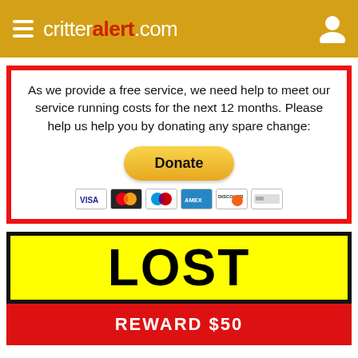critteralert.com
As we provide a free service, we need help to meet our service running costs for the next 12 months. Please help us help you by donating any spare change:
[Figure (other): PayPal Donate button with payment card icons (Visa, Mastercard, Maestro, Amex, Discover, and one more)]
LOST
REWARD $50